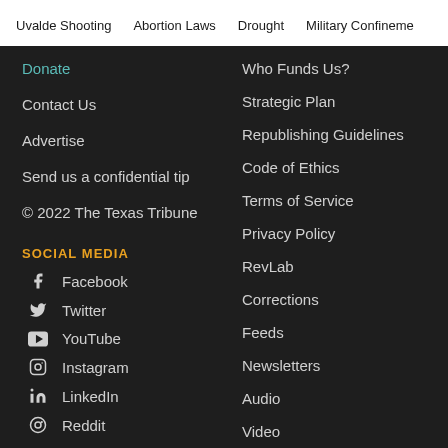Uvalde Shooting   Abortion Laws   Drought   Military Confineme...
Donate
Contact Us
Advertise
Send us a confidential tip
© 2022 The Texas Tribune
SOCIAL MEDIA
Facebook
Twitter
YouTube
Instagram
LinkedIn
Reddit
Who Funds Us?
Strategic Plan
Republishing Guidelines
Code of Ethics
Terms of Service
Privacy Policy
RevLab
Corrections
Feeds
Newsletters
Audio
Video